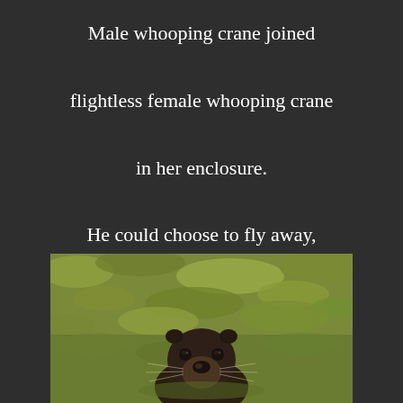Male whooping crane joined flightless female whooping crane in her enclosure. He could choose to fly away, but he loves her, so he stays.
[Figure (photo): A river otter looking directly at the camera, partially submerged in green algae-covered water.]